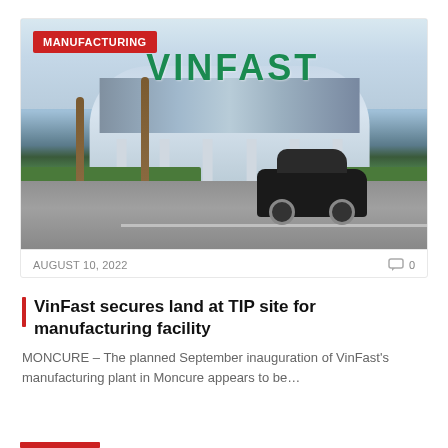[Figure (photo): Exterior photo of VinFast manufacturing building with VINFAST text on facade, palm trees, black car in foreground, with a red MANUFACTURING badge overlay in top-left corner]
AUGUST 10, 2022
0
VinFast secures land at TIP site for manufacturing facility
MONCURE – The planned September inauguration of VinFast's manufacturing plant in Moncure appears to be…